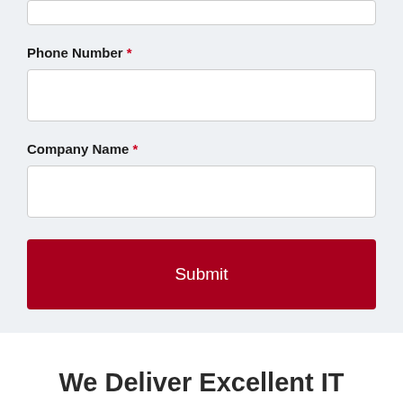[Figure (screenshot): Top portion of a web form showing a partial input field at the very top, then Phone Number label with required asterisk and empty input field, Company Name label with required asterisk and empty input field, and a dark red Submit button.]
We Deliver Excellent IT